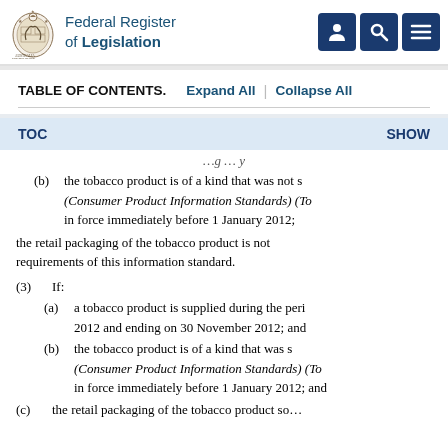Federal Register of Legislation
TABLE OF CONTENTS.   Expand All | Collapse All
TOC   SHOW
(b) the tobacco product is of a kind that was not s... (Consumer Product Information Standards) (To... in force immediately before 1 January 2012;
the retail packaging of the tobacco product is not requirements of this information standard.
(3) If:
(a) a tobacco product is supplied during the peri... 2012 and ending on 30 November 2012; and
(b) the tobacco product is of a kind that was s... (Consumer Product Information Standards) (To... in force immediately before 1 January 2012; and
(c) the retail packaging of the tobacco product so...